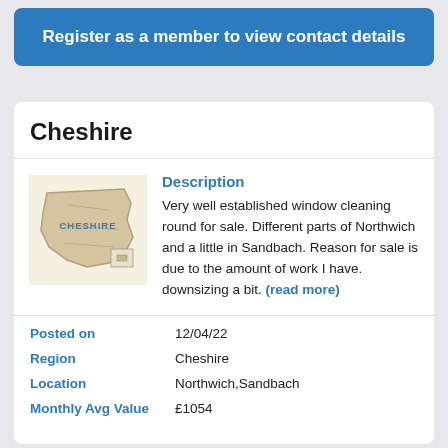Register as a member to view contact details
Cheshire
[Figure (map): Map of Cheshire region in England, tan/beige colored with CHESHIRE label]
Description
Very well established window cleaning round for sale. Different parts of Northwich and a little in Sandbach. Reason for sale is due to the amount of work I have. downsizing a bit. (read more)
| Field | Value |
| --- | --- |
| Posted on | 12/04/22 |
| Region | Cheshire |
| Location | Northwich,Sandbach |
| Monthly Avg Value | £1054 |